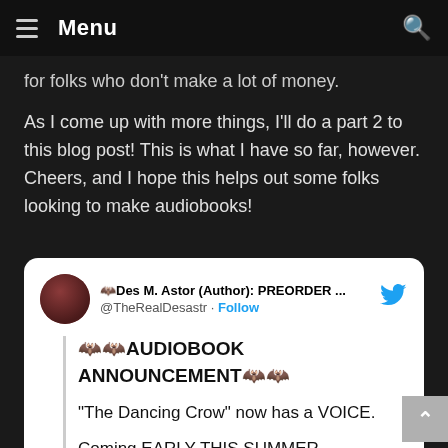Menu
for folks who don't make a lot of money.
As I come up with more things, I'll do a part 2 to this blog post! This is what I have so far, however. Cheers, and I hope this helps out some folks looking to make audiobooks!
[Figure (screenshot): Embedded tweet from @TheRealDesastr (Des M. Astor, Author: PREORDER...) announcing an audiobook: '🦇🦇AUDIOBOOK ANNOUNCEMENT🦇🦇 - "The Dancing Crow" now has a VOICE. Coming EARLY THIS SUMMER.']